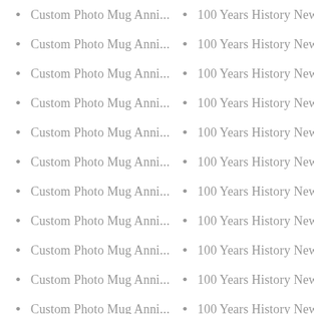Custom Photo Mug Anni...
Custom Photo Mug Anni...
Custom Photo Mug Anni...
Custom Photo Mug Anni...
Custom Photo Mug Anni...
Custom Photo Mug Anni...
Custom Photo Mug Anni...
Custom Photo Mug Anni...
Custom Photo Mug Anni...
Custom Photo Mug Anni...
Custom Photo Mug Anni...
Custom Photo Mug Anni...
100 Years History News ....
100 Years History News ...
100 Years History News ...
100 Years History News ...
100 Years History News ...
100 Years History News ...
100 Years History News ...
100 Years History News ...
100 Years History News ...
100 Years History News ...
100 Years History News ...
100 Years History News ...